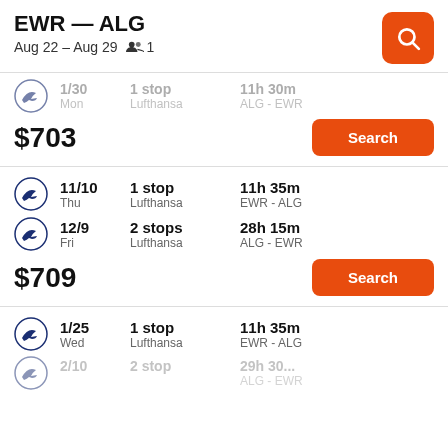EWR — ALG
Aug 22 – Aug 29   👥 1
1/30  Mon  1 stop  Lufthansa  11h 30m  ALG - EWR
$703
Search
11/10  Thu  1 stop  Lufthansa  11h 35m  EWR - ALG
12/9  Fri  2 stops  Lufthansa  28h 15m  ALG - EWR
$709
Search
1/25  Wed  1 stop  Lufthansa  11h 35m  EWR - ALG
2/10  ...  2 stop...  ...  29h 30...  ALG - EWR (partial)